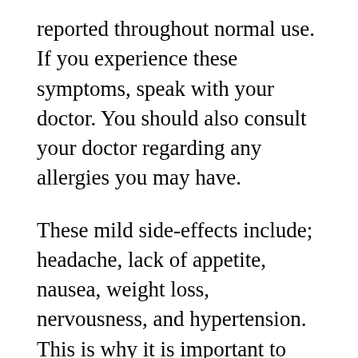reported throughout normal use. If you experience these symptoms, speak with your doctor. You should also consult your doctor regarding any allergies you may have.
These mild side-effects include; headache, lack of appetite, nausea, weight loss, nervousness, and hypertension. This is why it is important to discuss details with your doctor prior to your first dose.
If you have any previous health conditions, you need to speak to your doctor before use. Heart conditions for example need to be discussed regarding stimulants. The same holds true for high blood pressure, liver problems, mental health issues, or addiction concerns.